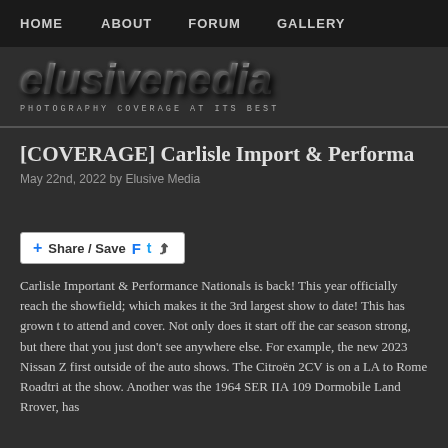HOME   ABOUT   FORUM   GALLERY
[Figure (logo): Elusive Media logo with text 'elusivenedia' in grunge style and tagline 'PHOTOGRAPHY COVERAGE AT ITS BEST']
[COVERAGE] Carlisle Import & Performa
May 22nd, 2022 by Elusive Media
[Figure (infographic): Share / Save button with Facebook, Twitter, and share icons]
Carlisle Important & Performance Nationals is back! This year officially reached the showfield; which makes it the 3rd largest show to date! This has grown to attend and cover. Not only does it start off the car season strong, but there that you just don't see anywhere else. For example, the new 2023 Nissan Z first outside of the auto shows. The Citroën 2CV is on a LA to Rome Roadtrip at the show. Another was the 1964 SER IIA 109 Dormobile Land Rrover, has